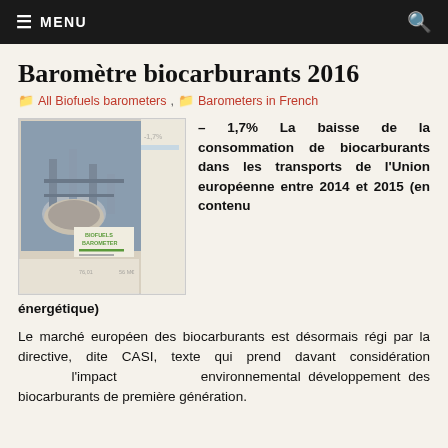≡ MENU
Baromètre biocarburants 2016
All Biofuels barometers, Barometers in French
[Figure (photo): Cover of the Biofuels Barometer 2016 report showing an industrial tank/facility image with 'BIOFUELS BAROMETER' text and -1,7% statistic]
– 1,7% La baisse de la consommation de biocarburants dans les transports de l'Union européenne entre 2014 et 2015 (en contenu énergétique)
Le marché européen des biocarburants est désormais régi par la directive, dite CASI, texte qui prend davant considération l'impact environnemental développement des biocarburants de première génération.